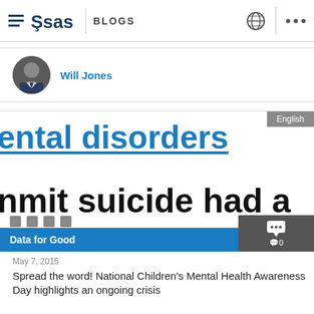SAS BLOGS
Will Jones
[Figure (screenshot): Cropped screenshot showing text 'ental disorders' in large blue font and 'nmit suicide had a' in large black font, with an 'English' tag in the top-right corner and a 'Data for Good' blue bar at the bottom]
May 7, 2015
Spread the word! National Children's Mental Health Awareness Day highlights an ongoing crisis